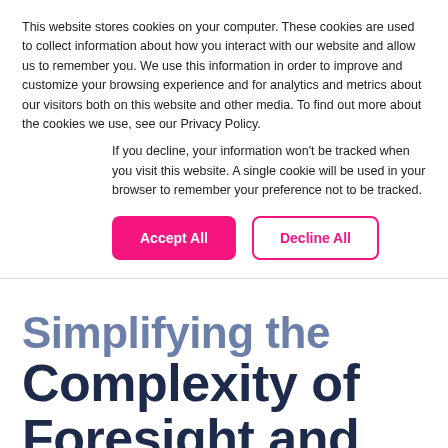This website stores cookies on your computer. These cookies are used to collect information about how you interact with our website and allow us to remember you. We use this information in order to improve and customize your browsing experience and for analytics and metrics about our visitors both on this website and other media. To find out more about the cookies we use, see our Privacy Policy.
If you decline, your information won't be tracked when you visit this website. A single cookie will be used in your browser to remember your preference not to be tracked.
Accept All | Decline All
Simplifying the Complexity of Foresight and Strategy
Foresight is a powerful tool that organizations can utilize to